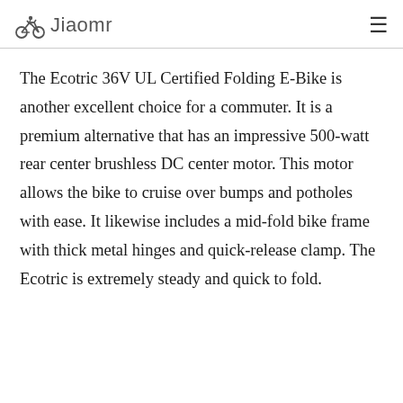Jiaomr
The Ecotric 36V UL Certified Folding E-Bike is another excellent choice for a commuter. It is a premium alternative that has an impressive 500-watt rear center brushless DC center motor. This motor allows the bike to cruise over bumps and potholes with ease. It likewise includes a mid-fold bike frame with thick metal hinges and quick-release clamp. The Ecotric is extremely steady and quick to fold.